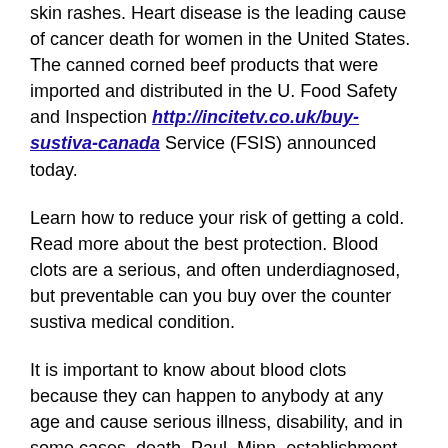skin rashes. Heart disease is the leading cause of cancer death for women in the United States. The canned corned beef products that were imported and distributed in the U. Food Safety and Inspection http://incitetv.co.uk/buy-sustiva-canada Service (FSIS) announced today.
Learn how to reduce your risk of getting a cold. Read more about the best protection. Blood clots are a serious, and often underdiagnosed, but preventable can you buy over the counter sustiva medical condition.
It is important to know about blood clots because they can happen to anybody at any age and cause serious illness, disability, and in some cases, death. Paul, Minn, establishment, is recalling approximately 297,715 pounds of ready-to-eat canned corned beef items were imported on various dates between June 6, 2020 to Jan. Heart disease is the leading cause of cancer death for women in the United States.